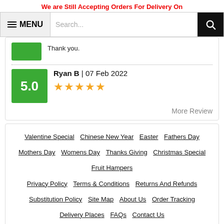We are Still Accepting Orders For Delivery On
Thank you.
Ryan B | 07 Feb 2022 ★★★★★ 5.0
More Review
Valentine Special
Chinese New Year
Easter
Fathers Day
Mothers Day
Womens Day
Thanks Giving
Christmas Special
Fruit Hampers
Privacy Policy
Terms & Conditions
Returns And Refunds
Substitution Policy
Site Map
About Us
Order Tracking
Delivery Places
FAQs
Contact Us